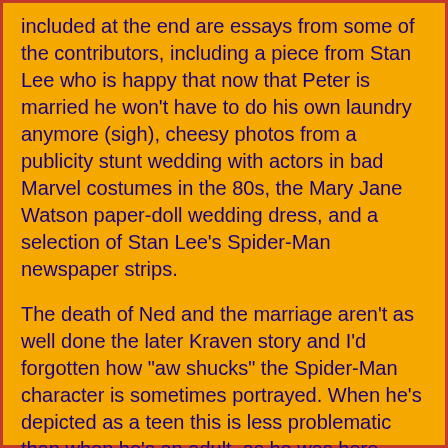included at the end are essays from some of the contributors, including a piece from Stan Lee who is happy that now that Peter is married he won't have to do his own laundry anymore (sigh), cheesy photos from a publicity stunt wedding with actors in bad Marvel costumes in the 80s, the Mary Jane Watson paper-doll wedding dress, and a selection of Stan Lee's Spider-Man newspaper strips.
The death of Ned and the marriage aren't as well done the later Kraven story and I'd forgotten how "aw shucks" the Spider-Man character is sometimes portrayed. When he's depicted as a teen this is less problematic than when he's an adult, as he was here.
Which brings me to another thought about the dilemma that both DC and Marvel have had over the years, resulting in reboots, new versions of the characters, but a lack of disappearance of the old characters. It seems like they were always stuck between Peanuts and For Better or For Worse. Do they age their characters or not? They seem to want it both ways and this has caused more problems than either approach would have if they just stuck with it. (Personally, I'd